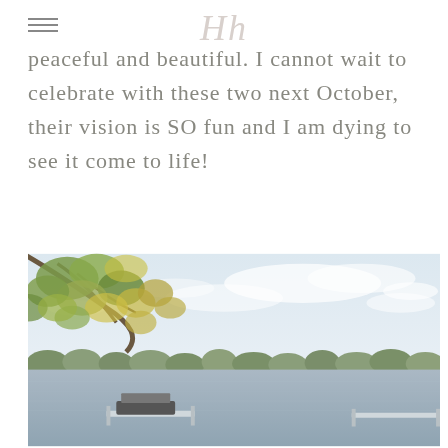Hh
peaceful and beautiful. I cannot wait to celebrate with these two next October, their vision is SO fun and I am dying to see it come to life!
[Figure (photo): Lakeside scene with overhanging tree branches with green and yellow leaves in the upper left, expansive sky with soft clouds, a wide calm lake in the background with a treeline on the far shore, and a small dock with a boat in the foreground.]